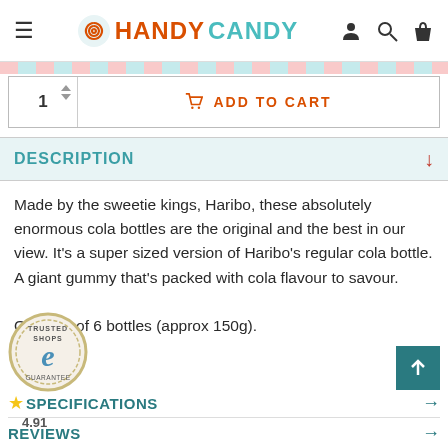HANDY CANDY
ADD TO CART
DESCRIPTION
Made by the sweetie kings, Haribo, these absolutely enormous cola bottles are the original and the best in our view. It's a super sized version of Haribo's regular cola bottle. A giant gummy that's packed with cola flavour to savour.

Quantity of 6 bottles (approx 150g).
[Figure (logo): Trusted Shops e-commerce guarantee badge]
SPECIFICATIONS
4.91
REVIEWS